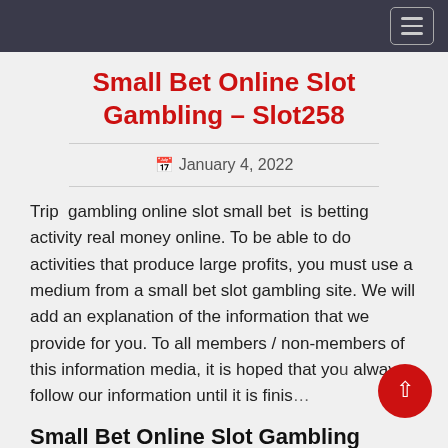Small Bet Online Slot Gambling – Slot258
January 4, 2022
Trip gambling online slot small bet is betting activity real money online. To be able to do activities that produce large profits, you must use a medium from a small bet slot gambling site. We will add an explanation of the information that we provide for you. To all members / non-members of this information media, it is hoped that you always follow our information until it is finis…
Small Bet Online Slot Gambling